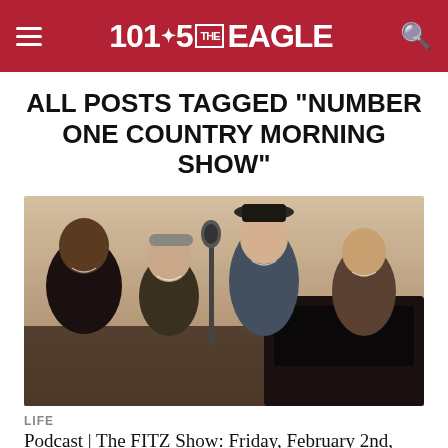101.5 THE EAGLE
ALL POSTS TAGGED "NUMBER ONE COUNTRY MORNING SHOW"
[Figure (photo): Group photo of four people smiling in a radio studio, with microphones and broadcast equipment visible]
LIFE
Podcast | The FITZ Show: Friday, February 2nd, 2018
JOIN 101.5 THE EAGLE'S EMAIL LIST FOR INFORMATION ABOUT CONCERTS, CONTESTS, AND MORE! * indicates required Email Address * First [...]